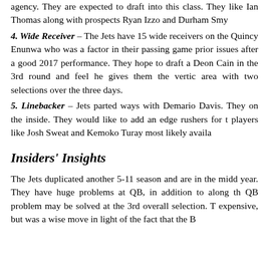agency. They are expected to draft into this class. They like Ian Thomas along with prospects Ryan Izzo and Durham Smy
4. Wide Receiver – The Jets have 15 wide receivers on the Quincy Enunwa who was a factor in their passing game prior issues after a good 2017 performance. They hope to draft a Deon Cain in the 3rd round and feel he gives them the vertic area with two selections over the three days.
5. Linebacker – Jets parted ways with Demario Davis. They on the inside. They would like to add an edge rushers for t players like Josh Sweat and Kemoko Turay most likely availa
Insiders' Insights
The Jets duplicated another 5-11 season and are in the midd year. They have huge problems at QB, in addition to along th QB problem may be solved at the 3rd overall selection. T expensive, but was a wise move in light of the fact that the B